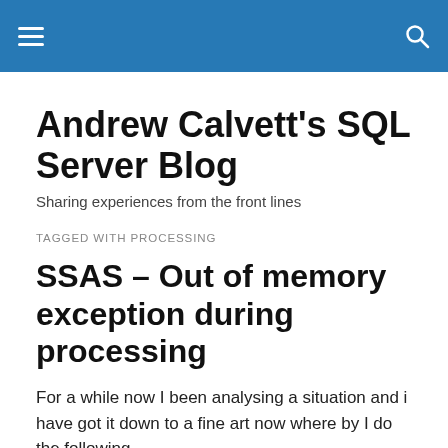Andrew Calvett's SQL Server Blog — navigation header bar
Andrew Calvett's SQL Server Blog
Sharing experiences from the front lines
TAGGED WITH PROCESSING
SSAS – Out of memory exception during processing
For a while now I been analysing a situation and i have got it down to a fine art now where by I do the following
1. Create a memory a memory intensive situation where i